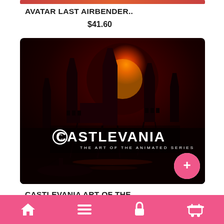[Figure (other): Partial top red banner/image strip from Avatar Last Airbender product]
AVATAR LAST AIRBENDER..
$41.60
[Figure (photo): Castlevania: The Art of the Animated Series book cover showing a dark gothic castle against a large red moon with the Castlevania logo in white text]
CASTLEVANIA ART OF THE..
$41.60
Home | Menu | Lock | Cart navigation bar